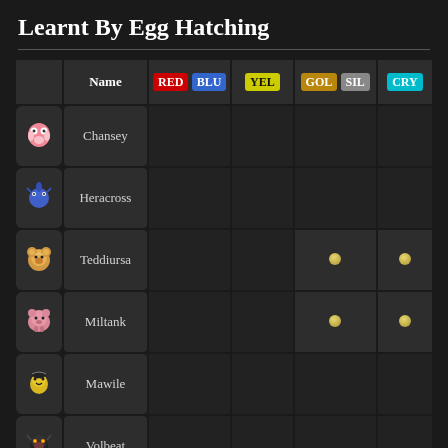Learnt By Egg Hatching
|  | Name | RED BLU | YEL | GOL SIL | CRY |
| --- | --- | --- | --- | --- | --- |
| [Chansey] | Chansey |  |  |  |  |
| [Heracross] | Heracross |  |  |  |  |
| [Teddiursa] | Teddiursa |  |  | ● | ● |
| [Miltank] | Miltank |  |  | ● | ● |
| [Mawile] | Mawile |  |  |  |  |
| [Volbeat] | Volbeat |  |  |  |  |
| [Happiny] | Happiny |  |  |  |  |
Learnt By Move Tutor